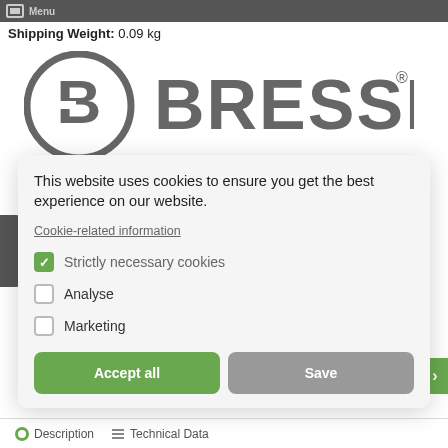Menu
Shipping Weight: 0.09 kg
[Figure (logo): BRESSER brand logo with circular B emblem and BRESSER text in grey]
This website uses cookies to ensure you get the best experience on our website.
Cookie-related information
Strictly necessary cookies (checked)
Analyse (unchecked)
Marketing (unchecked)
Accept all | Save
Description | Technical Data